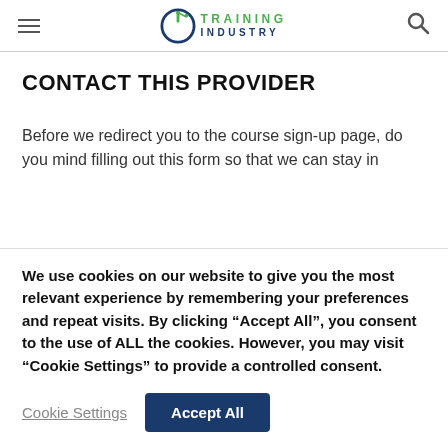Training Industry
CONTACT THIS PROVIDER
Before we redirect you to the course sign-up page, do you mind filling out this form so that we can stay in
We use cookies on our website to give you the most relevant experience by remembering your preferences and repeat visits. By clicking “Accept All”, you consent to the use of ALL the cookies. However, you may visit “Cookie Settings” to provide a controlled consent.
Cookie Settings | Accept All